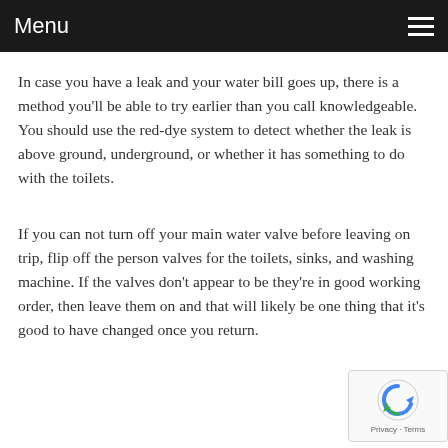Menu
In case you have a leak and your water bill goes up, there is a method you'll be able to try earlier than you call knowledgeable. You should use the red-dye system to detect whether the leak is above ground, underground, or whether it has something to do with the toilets.
If you can not turn off your main water valve before leaving on trip, flip off the person valves for the toilets, sinks, and washing machine. If the valves don't appear to be they're in good working order, then leave them on and that will likely be one thing that it's good to have changed once you return.